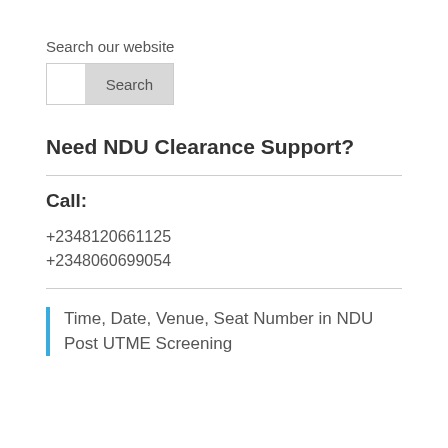Search our website
Need NDU Clearance Support?
Call:
+2348120661125
+2348060699054
Time, Date, Venue, Seat Number in NDU Post UTME Screening